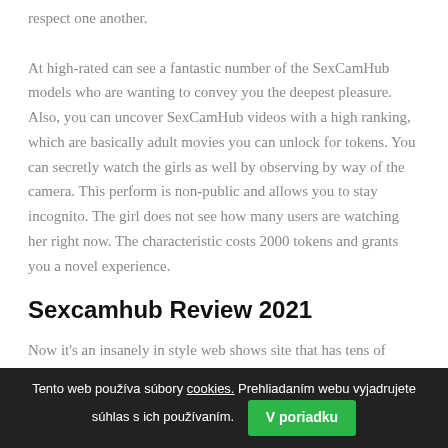respect one another.

At high-rated can see a fantastic number of the SexCamHub models who are wanting to convey you the deepest pleasure. Also, you can uncover SexCamHub videos with a high ranking, which are basically adult movies you can unlock for tokens. You can secretly watch the girls as well by observing by way of the camera. This perform is non-public and allows you to stay incognito. The girl does not see how many users are watching her right now. The characteristic costs 2000 tokens and grants you a novel experience.
Sexcamhub Review 2021
Now it's an insanely in style web shows site that has tens of millions of users. The database of SexCamHub is consistently rising, which only proves the fact that this site has an excellent popularity and provides a fantastic webcam experience. In this quick, but very informative SexCamHub review, we'll share with you everything
Tento web používa súbory cookies. Prehliadaním webu vyjadrujete súhlas s ich používaním. V poriadku